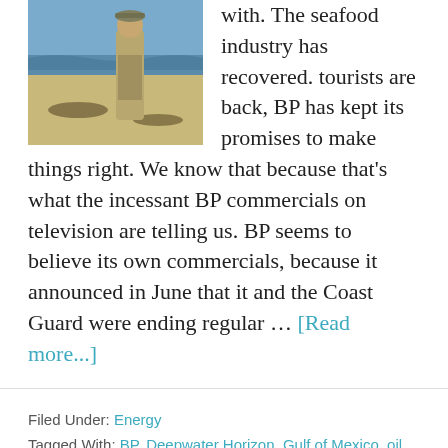[Figure (photo): Photo of a person in uniform standing on a beach with oil-affected shoreline and ocean in the background]
with. The seafood industry has recovered. tourists are back, BP has kept its promises to make things right. We know that because that's what the incessant BP commercials on television are telling us. BP seems to believe its own commercials, because it announced in June that it and the Coast Guard were ending regular … [Read more...]
Filed Under: Energy
Tagged With: BP, Deepwater Horizon, Gulf of Mexico, oil spill
Inside America's worst toxic waste cover-up
BY STAFF REPORTS | MAY 29, 2012